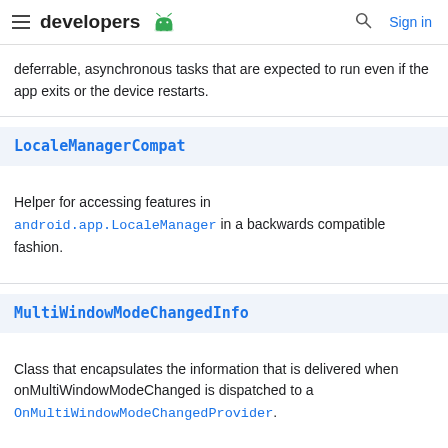developers [android logo] | [search] Sign in
deferrable, asynchronous tasks that are expected to run even if the app exits or the device restarts.
LocaleManagerCompat
Helper for accessing features in android.app.LocaleManager in a backwards compatible fashion.
MultiWindowModeChangedInfo
Class that encapsulates the information that is delivered when onMultiWindowModeChanged is dispatched to a OnMultiWindowModeChangedProvider.
NavUtils